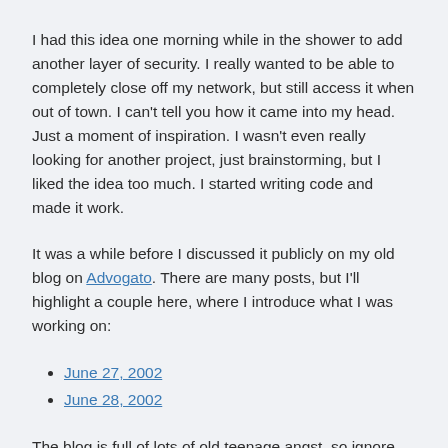I had this idea one morning while in the shower to add another layer of security. I really wanted to be able to completely close off my network, but still access it when out of town. I can't tell you how it came into my head. Just a moment of inspiration. I wasn't even really looking for another project, just brainstorming, but I liked the idea too much. I started writing code and made it work.
It was a while before I discussed it publicly on my old blog on Advogato. There are many posts, but I'll highlight a couple here, where I introduce what I was working on:
June 27, 2002
June 28, 2002
The blog is full of lots of old teenage angst, so ignore most of it, but I spend the next few weeks going over my progress, answering questions from people who are